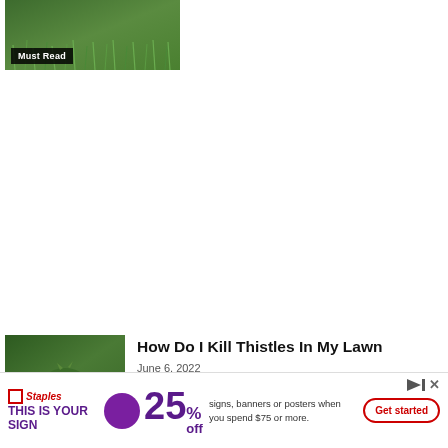[Figure (photo): Thumbnail image of green grass with 'Must Read' label overlay]
[Figure (photo): Thumbnail image of thistle plant with spiky green leaves on grass]
How Do I Kill Thistles In My Lawn
June 6, 2022
[Figure (other): Staples advertisement banner: THIS IS YOUR SIGN - 25% off signs, banners or posters when you spend $75 or more. Get started button.]